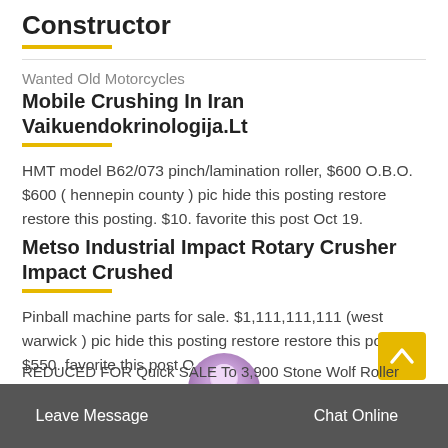Constructor
Wanted Old Motorcycles
Mobile Crushing In Iran Vaikuendokrinologija.Lt
HMT model B62/073 pinch/lamination roller, $600 O.B.O. $600 ( hennepin county ) pic hide this posting restore restore this posting. $10. favorite this post Oct 19.
Metso Industrial Impact Rotary Crusher Impact Crushed
Pinball machine parts for sale. $1,111,111,111 (west warwick ) pic hide this posting restore restore this posting. $550. favorite this post Oct 12.
Boston For Sale By Owner Roller Quot Craigslist...
REDUCED FOR Quick SALE To 3,900 Stone Wolf Roller